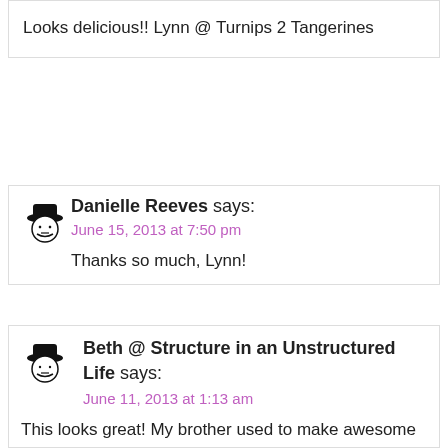Looks delicious!! Lynn @ Turnips 2 Tangerines
Danielle Reeves says: June 15, 2013 at 7:50 pm
Thanks so much, Lynn!
Beth @ Structure in an Unstructured Life says: June 11, 2013 at 1:13 am
This looks great! My brother used to make awesome jerk chicken wings. I love that you